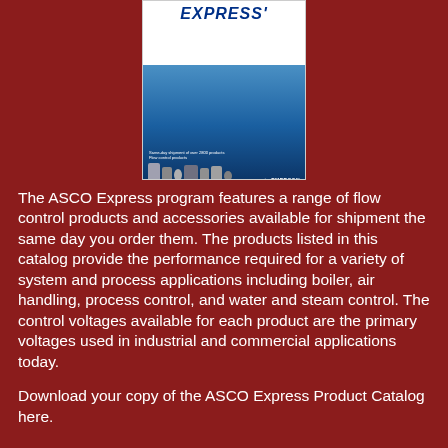[Figure (photo): ASCO Express product catalog cover showing industrial flow control products and accessories against a blue background with Emerson branding]
The ASCO Express program features a range of flow control products and accessories available for shipment the same day you order them. The products listed in this catalog provide the performance required for a variety of system and process applications including boiler, air handling, process control, and water and steam control. The control voltages available for each product are the primary voltages used in industrial and commercial applications today.
Download your copy of the ASCO Express Product Catalog here.